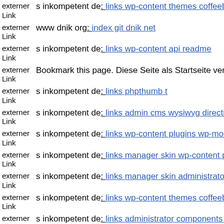externer Link  s inkompetent de: links wp-content themes coffeebreak scri…
externer Link  www dnik org: index git dnik net
externer Link  s inkompetent de: links wp-content api readme
externer Link  Bookmark this page. Diese Seite als Startseite verwenden.
externer Link  s inkompetent de: links phpthumb t
externer Link  s inkompetent de: links admin cms wysiwyg directive skin e…
externer Link  s inkompetent de: links wp-content plugins wp-mobile-dete…
externer Link  s inkompetent de: links manager skin wp-content plugins w…
externer Link  s inkompetent de: links manager skin administrator compon…
externer Link  s inkompetent de: links wp-content themes coffeebreak scri…
externer Link  s inkompetent de: links administrator components com mac…
externer Link  s…